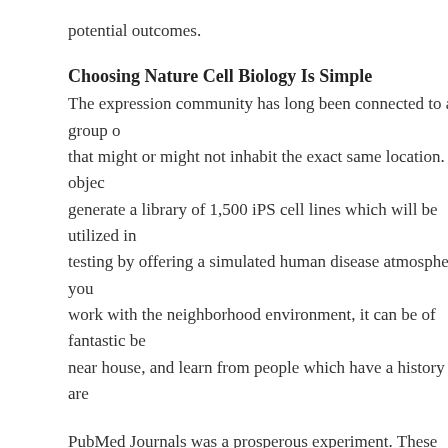potential outcomes.
Choosing Nature Cell Biology Is Simple
The expression community has long been connected to a group of that might or might not inhabit the exact same location. The objective is to generate a library of 1,500 iPS cell lines which will be utilized in testing by offering a simulated human disease atmosphere. If you work with the neighborhood environment, it can be of fantastic benefit near house, and learn from people which have a history in the area.
PubMed Journals was a prosperous experiment. These structures are to be analogous. It would be disastrous in the event the ventricles at the exact time so that is the reason why there’s a quick period of before the ventricles contract.
Nature Cell Biology for Dummies
What you input within your body will directly affect your whole body’s mind’s output. The precise quantity of water and salt removed from the which is used to determine the formation of the chemistry all